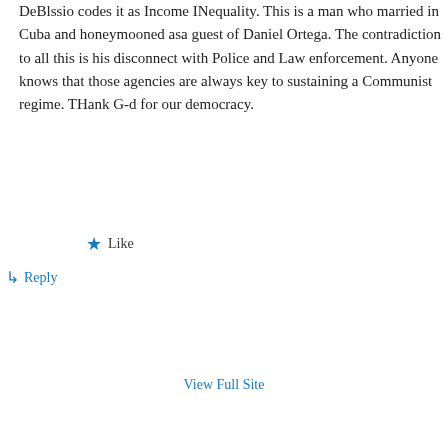DeBlssio codes it as Income INequality. This is a man who married in Cuba and honeymooned asa guest of Daniel Ortega. The contradiction to all this is his disconnect with Police and Law enforcement. Anyone knows that those agencies are always key to sustaining a Communist regime. THank G-d for our democracy.
★ Like
↳ Reply
View Full Site